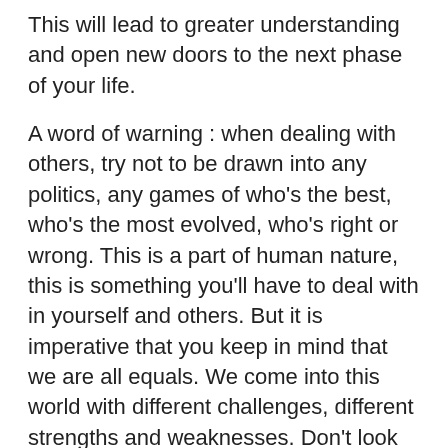This will lead to greater understanding and open new doors to the next phase of your life.
A word of warning : when dealing with others, try not to be drawn into any politics, any games of who's the best, who's the most evolved, who's right or wrong. This is a part of human nature, this is something you'll have to deal with in yourself and others. But it is imperative that you keep in mind that we are all equals. We come into this world with different challenges, different strengths and weaknesses. Don't look down upon yourself or others for what you may perceive as a weakness. For in weakness hides hidden strength. On the flip side, don't put anyone on a pedestal - learn from others when you can, teach when you can, but always remember we are each equally valuable, equally unique individuals.
There is an indication of a new beginning, of exciting new chapters in your life. It is up to you to take the